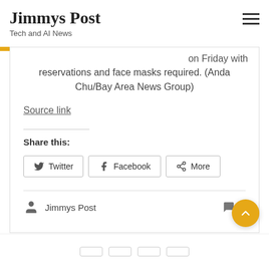Jimmys Post
Tech and AI News
on Friday with reservations and face masks required. (Anda Chu/Bay Area News Group)
Source link
Share this:
Twitter  Facebook  More
Jimmys Post  0